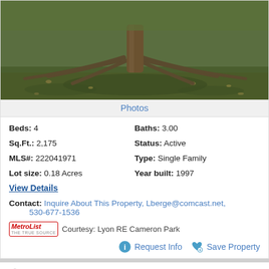[Figure (photo): Outdoor photo showing a large tree trunk with roots spreading across a grassy lawn]
Photos
Beds: 4    Baths: 3.00
Sq.Ft.: 2,175    Status: Active
MLS#: 222041971    Type: Single Family
Lot size: 0.18 Acres    Year built: 1997
View Details
Contact: Inquire About This Property, Lberge@comcast.net, 530-677-1536
MetroList Courtesy: Lyon RE Cameron Park
Request Info    Save Property
View additional info
$954,705   3310 Foxmore Lane Rescue, CA 95672